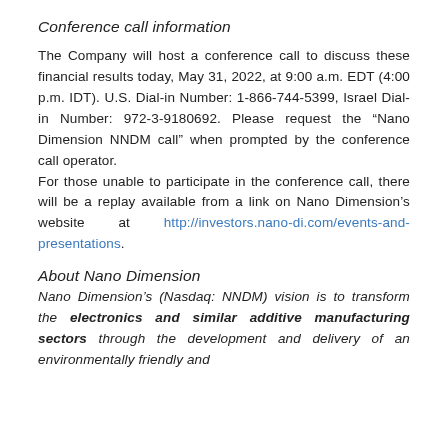Conference call information
The Company will host a conference call to discuss these financial results today, May 31, 2022, at 9:00 a.m. EDT (4:00 p.m. IDT). U.S. Dial-in Number: 1-866-744-5399, Israel Dial-in Number: 972-3-9180692. Please request the “Nano Dimension NNDM call” when prompted by the conference call operator.
For those unable to participate in the conference call, there will be a replay available from a link on Nano Dimension’s website at http://investors.nano-di.com/events-and-presentations.
About Nano Dimension
Nano Dimension’s (Nasdaq: NNDM) vision is to transform the electronics and similar additive manufacturing sectors through the development and delivery of an environmentally friendly and